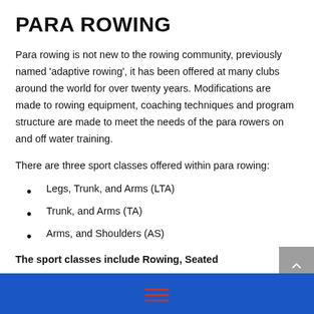PARA ROWING
Para rowing is not new to the rowing community, previously named ‘adaptive rowing’, it has been offered at many clubs around the world for over twenty years. Modifications are made to rowing equipment, coaching techniques and program structure are made to meet the needs of the para rowers on and off water training.
There are three sport classes offered within para rowing:
Legs, Trunk, and Arms (LTA)
Trunk, and Arms (TA)
Arms, and Shoulders (AS)
The sport classes include Rowing, Seated...